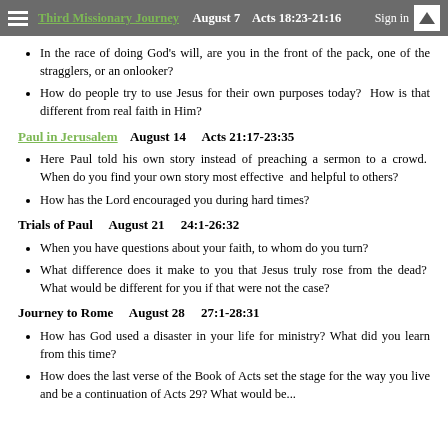Third Missionary Journey   August 7   Acts 18:23-21:16
In the race of doing God's will, are you in the front of the pack, one of the stragglers, or an onlooker?
How do people try to use Jesus for their own purposes today?  How is that different from real faith in Him?
Paul in Jerusalem    August 14    Acts 21:17-23:35
Here Paul told his own story instead of preaching a sermon to a crowd.  When do you find your own story most effective  and helpful to others?
How has the Lord encouraged you during hard times?
Trials of Paul    August 21    24:1-26:32
When you have questions about your faith, to whom do you turn?
What difference does it make to you that Jesus truly rose from the dead?  What would be different for you if that were not the case?
Journey to Rome    August 28    27:1-28:31
How has God used a disaster in your life for ministry? What did you learn from this time?
How does the last verse of the Book of Acts set the stage for the way you live and be a continuation of Acts 29? What would be...